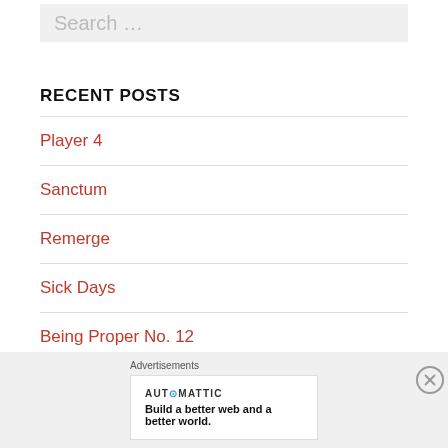Search …
RECENT POSTS
Player 4
Sanctum
Remerge
Sick Days
Being Proper No. 12
Advertisements
[Figure (logo): Automattic logo with tagline: Build a better web and a better world.]